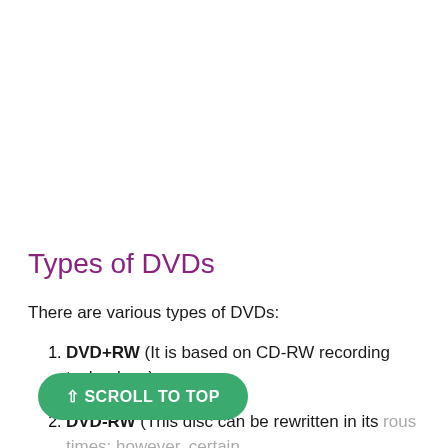Types of DVDs
There are various types of DVDs:
DVD+RW (It is based on CD-RW recording technology).
DVD-RW (This disc can be rewritten in its various times; however, certain [content cannot be removed]).
[Figure (other): Green 'SCROLL TO TOP' button overlay at bottom left]